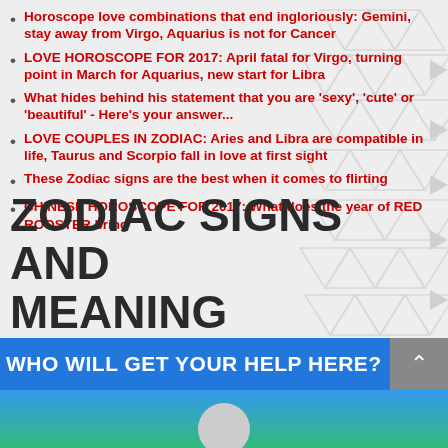Horoscope love combinations that end ingloriously: Gemini, stay away from Virgo, Aquarius is not for Cancer
LOVE HOROSCOPE FOR 2017: April fatal for Virgo, turning point in March for Aquarius, new start for Libra
What hides behind his statement that you are 'sexy', 'cute' or 'beautiful' - Here's your answer...
LOVE COUPLES IN ZODIAC: Aries and Libra are compatible in life, Taurus and Scorpio fall in love at first sight
These Zodiac signs are the best when it comes to flirting
CHINESE HOROSCOPE FOR 2017: What does the year of RED ROOSTER bring
ZODIAC SIGNS AND MEANING
[Figure (screenshot): Blue banner with white bold text 'WHO WILL GET YOUR HELP HERE?' and a grey button with arrow on the right, followed by a teal/green gradient banner image area at the bottom]